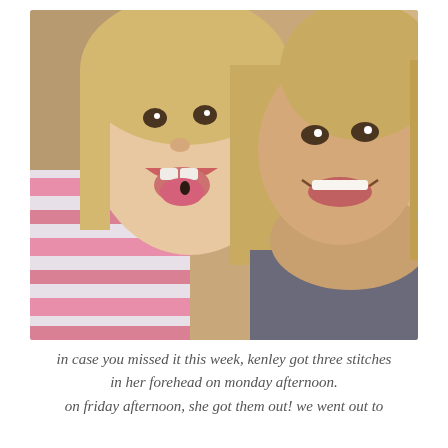[Figure (photo): A selfie-style photo of a woman smiling and a young blonde girl in a pink striped shirt sticking her tongue out, cheek to cheek.]
in case you missed it this week, kenley got three stitches in her forehead on monday afternoon. on friday afternoon, she got them out! we went out to